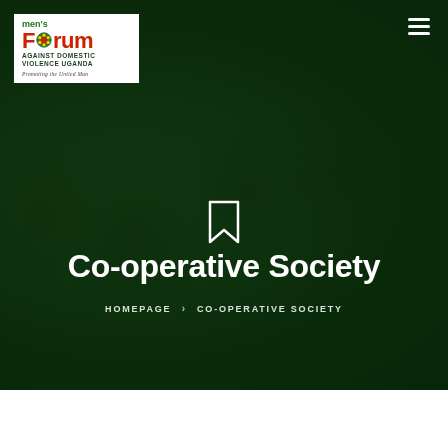[Figure (photo): Hero banner with dark green overlay showing a family (adults and children smiling together). Men's Forum Against Domestic Violence Uganda logo in top-left white box. Hamburger menu icon top-right. Bookmark icon centered. Title 'Co-operative Society' centered in white bold text. Breadcrumb: HOMEPAGE > CO-OPERATIVE SOCIETY.]
Co-operative Society
HOMEPAGE > CO-OPERATIVE SOCIETY